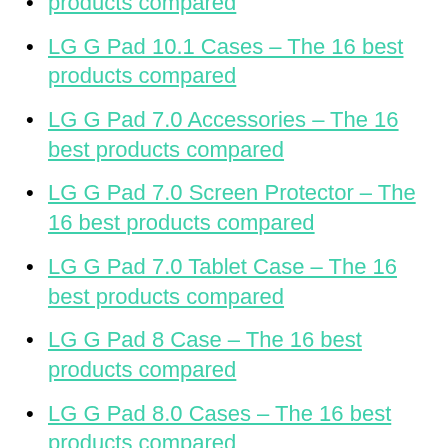products compared
LG G Pad 10.1 Cases – The 16 best products compared
LG G Pad 7.0 Accessories – The 16 best products compared
LG G Pad 7.0 Screen Protector – The 16 best products compared
LG G Pad 7.0 Tablet Case – The 16 best products compared
LG G Pad 8 Case – The 16 best products compared
LG G Pad 8.0 Cases – The 16 best products compared